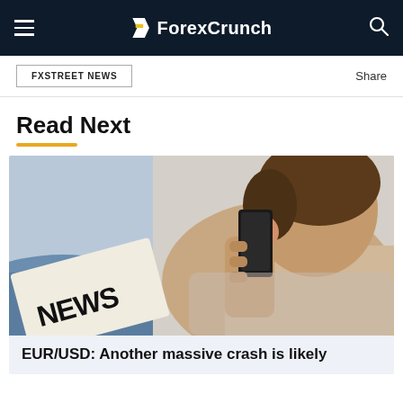ForexCrunch
FXSTREET NEWS
Share
Read Next
[Figure (photo): Person holding a phone to their ear while holding a newspaper with 'NEWS' visible on it]
EUR/USD: Another massive crash is likely